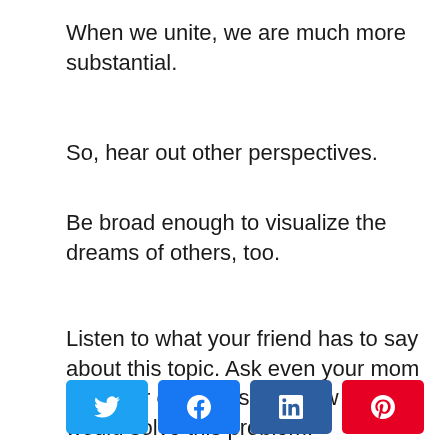When we unite, we are much more substantial.
So, hear out other perspectives.
Be broad enough to visualize the dreams of others, too.
Listen to what your friend has to say about this topic. Ask even your mom what her opinion is and how she would solve this problem.
[Figure (other): Social share buttons: Twitter (blue), Facebook (blue), LinkedIn (dark blue), Pinterest (red)]